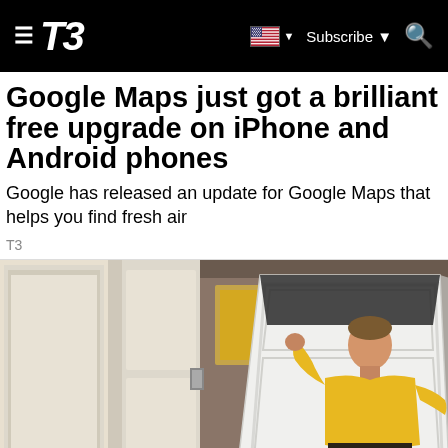T3 | Subscribe | Search
Google Maps just got a brilliant free upgrade on iPhone and Android phones
Google has released an update for Google Maps that helps you find fresh air
T3
[Figure (photo): A man in a yellow shirt pulling down a Murphy bed (wall bed) in what appears to be a room with built-in cabinetry.]